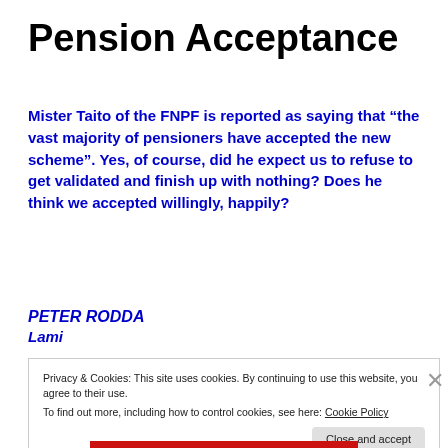Pension Acceptance
Mister Taito of the FNPF is reported as saying that “the vast majority of pensioners have accepted the new scheme”. Yes, of course, did he expect us to refuse to get validated and finish up with nothing? Does he think we accepted willingly, happily?
PETER RODDA
Lami
Privacy & Cookies: This site uses cookies. By continuing to use this website, you agree to their use.
To find out more, including how to control cookies, see here: Cookie Policy